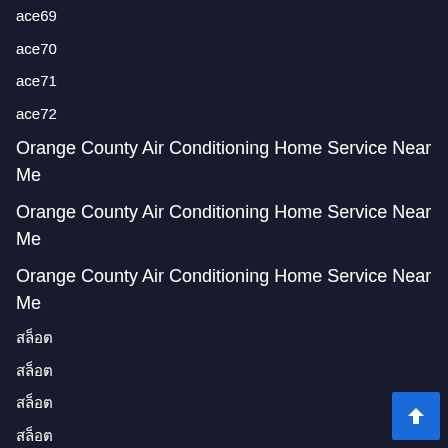ace69
ace70
ace71
ace72
Orange County Air Conditioning Home Service Near Me
Orange County Air Conditioning Home Service Near Me
Orange County Air Conditioning Home Service Near Me
สล็อต
สล็อต
สล็อต
สล็อต
Acuarios
peceras
buy gbl online usa
buy gbl online usa